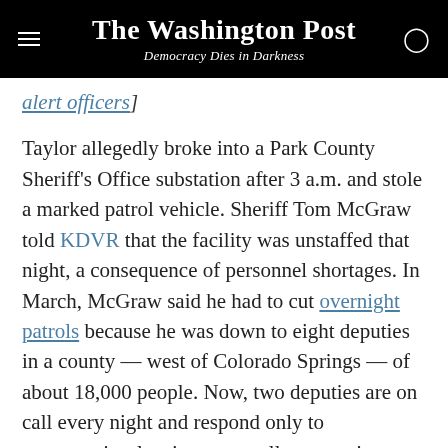The Washington Post — Democracy Dies in Darkness
alert officers]
Taylor allegedly broke into a Park County Sheriff's Office substation after 3 a.m. and stole a marked patrol vehicle. Sheriff Tom McGraw told KDVR that the facility was unstaffed that night, a consequence of personnel shortages. In March, McGraw said he had to cut overnight patrols because he was down to eight deputies in a county — west of Colorado Springs — of about 18,000 people. Now, two deputies are on call every night and respond only to emergencies, leaving most callers to wait one to two hours for a response, KDVR reported.